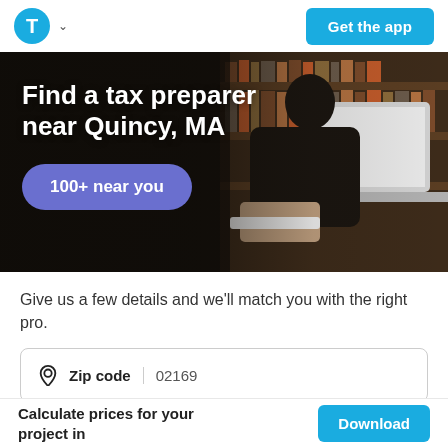T [logo] | Get the app
[Figure (photo): Hero banner showing a person working at a desk with books in the background. Text overlay: 'Find a tax preparer near Quincy, MA' and '100+ near you' button.]
Find a tax preparer near Quincy, MA
100+ near you
Give us a few details and we'll match you with the right pro.
Zip code  02169
Select a service
Calculate prices for your project in
Download